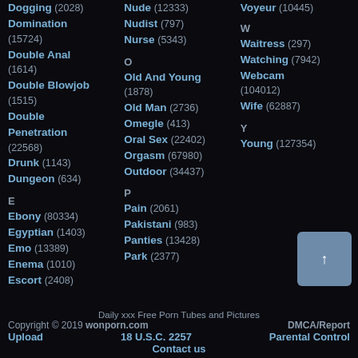Dogging (2028)
Domination (15724)
Double Anal (1614)
Double Blowjob (1515)
Double Penetration (22568)
Drunk (1143)
Dungeon (634)
E
Ebony (80334)
Egyptian (1403)
Emo (13389)
Enema (1010)
Escort (2408)
Nude (12333)
Nudist (797)
Nurse (5343)
O
Old And Young (1878)
Old Man (2736)
Omegle (413)
Oral Sex (22402)
Orgasm (67980)
Outdoor (34437)
P
Pain (2061)
Pakistani (983)
Panties (13428)
Park (2377)
W
Waitress (297)
Watching (7942)
Webcam (104012)
Wife (62887)
Y
Young (127354)
Daily xxx Free Porn Tubes and Pictures
Copyright © 2019 wonporn.com    DMCA/Report
Upload    18 U.S.C. 2257    Parental Control
Contact us